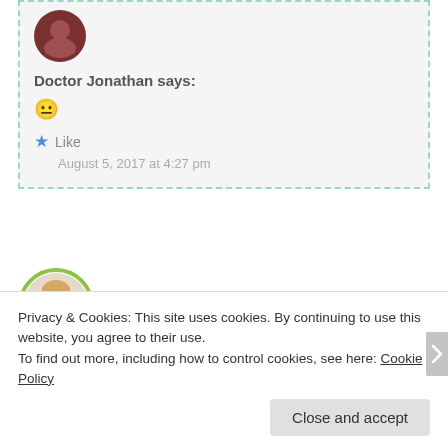[Figure (photo): Small circular avatar of Doctor Jonathan, dark reddish background]
Doctor Jonathan says:
😐
★ Like
August 5, 2017 at 4:27 pm
[Figure (photo): Large circular avatar of The Cooking spoon, woman with blonde hair, green circular border]
The Cooking spoon says:
Privacy & Cookies: This site uses cookies. By continuing to use this website, you agree to their use.
To find out more, including how to control cookies, see here: Cookie Policy
Close and accept